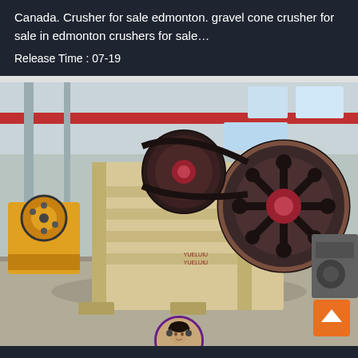Canada. Crusher for sale edmonton. gravel cone crusher for sale in edmonton crushers for sale…
Release Time : 07-19
[Figure (photo): Industrial jaw crusher machine displayed in a large factory warehouse. The crusher is beige/cream colored with large black pulley wheels, set on a concrete factory floor. Other yellow mining equipment visible in background.]
Leave Message
Chat Online